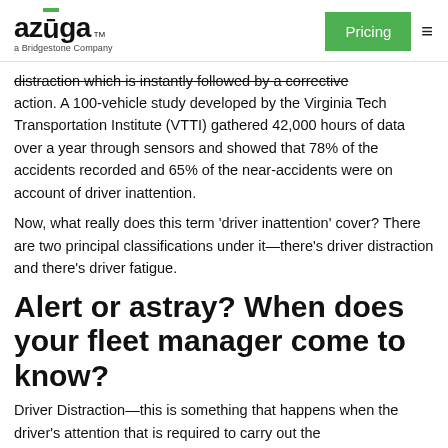azuga a Bridgestone Company | Pricing
distraction which is instantly followed by a corrective action. A 100-vehicle study developed by the Virginia Tech Transportation Institute (VTTI) gathered 42,000 hours of data over a year through sensors and showed that 78% of the accidents recorded and 65% of the near-accidents were on account of driver inattention.
Now, what really does this term 'driver inattention' cover? There are two principal classifications under it—there's driver distraction and there's driver fatigue.
Alert or astray? When does your fleet manager come to know?
Driver Distraction—this is something that happens when the driver's attention that is required to carry out the